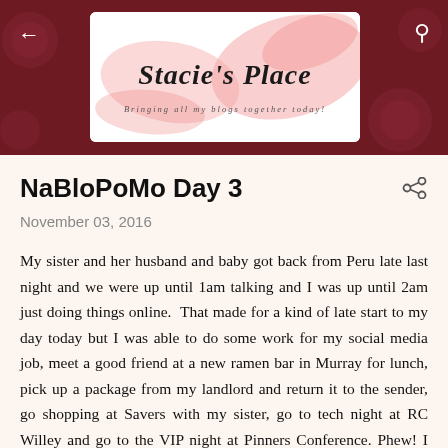[Figure (logo): Stacie's Place blog header logo with pink brush stroke design on white background, subtitle: Bringing all my blogs together today!]
NaBloPoMo Day 3
November 03, 2016
My sister and her husband and baby got back from Peru late last night and we were up until 1am talking and I was up until 2am just doing things online.  That made for a kind of late start to my day today but I was able to do some work for my social media job, meet a good friend at a new ramen bar in Murray for lunch, pick up a package from my landlord and return it to the sender, go shopping at Savers with my sister, go to tech night at RC Willey and go to the VIP night at Pinners Conference. Phew! I love when I have a productive busy day like that. Seriously. It's been kinda dead in